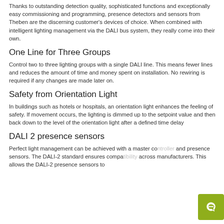Thanks to outstanding detection quality, sophisticated functions and exceptionally easy commissioning and programming, presence detectors and sensors from Theben are the discerning customer's devices of choice. When combined with intelligent lighting management via the DALI bus system, they really come into their own.
One Line for Three Groups
Control two to three lighting groups with a single DALI line. This means fewer lines and reduces the amount of time and money spent on installation. No rewiring is required if any changes are made later on.
Safety from Orientation Light
In buildings such as hotels or hospitals, an orientation light enhances the feeling of safety. If movement occurs, the lighting is dimmed up to the setpoint value and then back down to the level of the orientation light after a defined time delay
DALI 2 presence sensors
Perfect light management can be achieved with a master controller and presence sensors. The DALI-2 standard ensures compatibility across manufacturers. This allows the DALI-2 presence sensors to